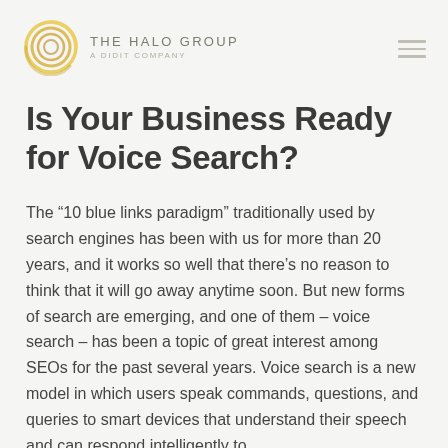THE HALO GROUP A DIDIT COMPANY
Is Your Business Ready for Voice Search?
The “10 blue links paradigm” traditionally used by search engines has been with us for more than 20 years, and it works so well that there’s no reason to think that it will go away anytime soon. But new forms of search are emerging, and one of them – voice search – has been a topic of great interest among SEOs for the past several years. Voice search is a new model in which users speak commands, questions, and queries to smart devices that understand their speech and can respond intelligently to